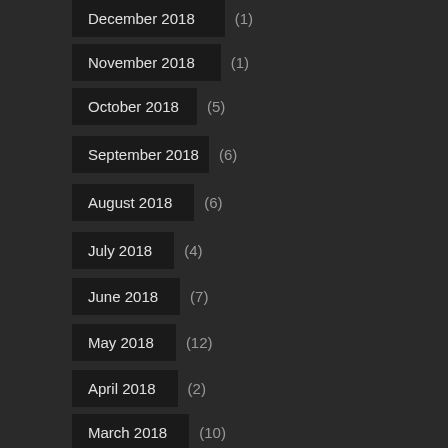December 2018 (1)
November 2018 (1)
October 2018 (5)
September 2018 (6)
August 2018 (6)
July 2018 (4)
June 2018 (7)
May 2018 (12)
April 2018 (2)
March 2018 (10)